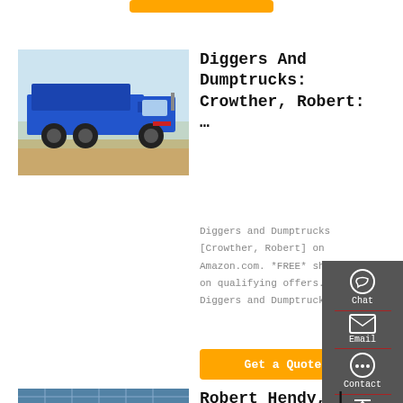[Figure (other): Orange button at top center]
[Figure (photo): Blue dump truck parked on dirt ground outdoors]
Diggers And Dumptrucks: Crowther, Robert: …
Diggers and Dumptrucks [Crowther, Robert] on Amazon.com. *FREE* shipping on qualifying offers. Diggers and Dumptrucks
[Figure (other): Get a Quote orange button]
[Figure (other): Sidebar with Chat, Email, Contact, Top icons on dark gray background]
[Figure (photo): Building with glass facade visible at bottom left]
Robert Hendy, |